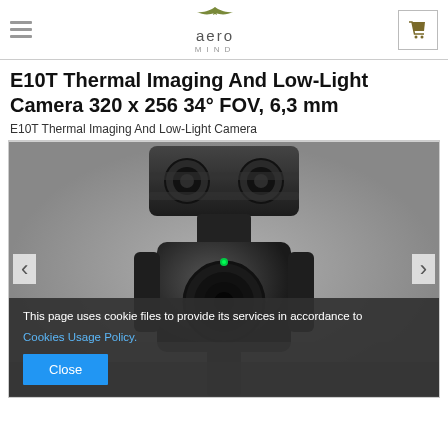aero MIND
E10T Thermal Imaging And Low-Light Camera 320 x 256 34° FOV, 6,3 mm
E10T Thermal Imaging And Low-Light Camera
[Figure (photo): Close-up product photo of E10T thermal imaging and low-light camera, a dark/black unit with dual-lens thermal module on top and camera lens below, mounted on a gimbal-style mount.]
This page uses cookie files to provide its services in accordance to Cookies Usage Policy.